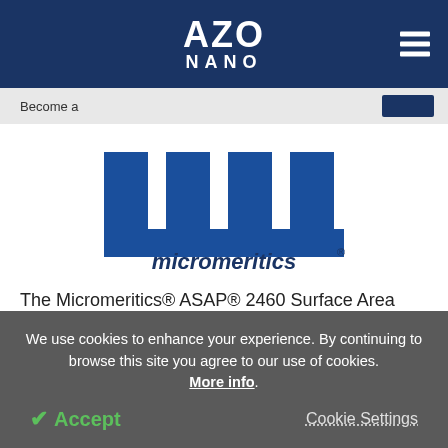AZO NANO
Become a
[Figure (logo): Micromeritics logo — blue comb-like icon above the word 'micromeritics' with registered trademark symbol]
The Micromeritics® ASAP® 2460 Surface Area and Porosimetry Analyzer offers a uniquely expandable
We use cookies to enhance your experience. By continuing to browse this site you agree to our use of cookies. More info.
✓ Accept
Cookie Settings